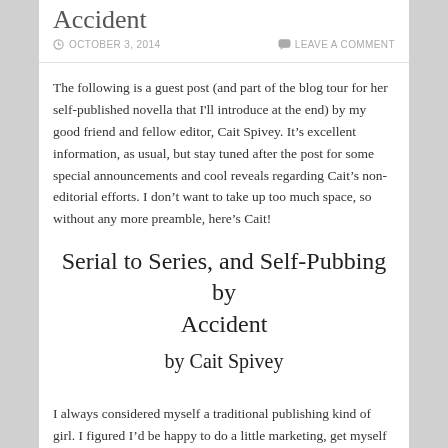Accident
OCTOBER 3, 2014   LEAVE A COMMENT
The following is a guest post (and part of the blog tour for her self-published novella that I'll introduce at the end) by my good friend and fellow editor, Cait Spivey. It's excellent information, as usual, but stay tuned after the post for some special announcements and cool reveals regarding Cait's non-editorial efforts. I don't want to take up too much space, so without any more preamble, here's Cait!
Serial to Series, and Self-Pubbing by Accident
by Cait Spivey
I always considered myself a traditional publishing kind of girl. I figured I'd be happy to do a little marketing, get myself out